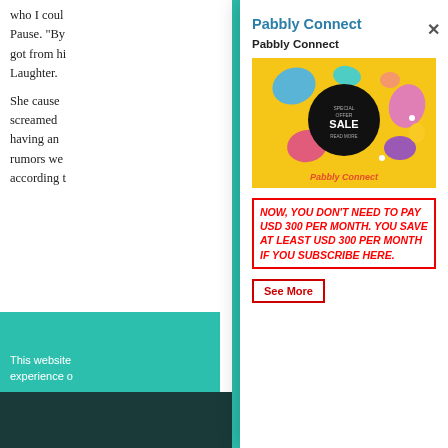who I coul... Pause. "By... got from hi... Laughter. She cause... screamed... having an... rumors we... according t...
This website... experience...
Pabbly Connect
Pabbly Connect
[Figure (illustration): Yellow background advertisement card with a dark circle in the center showing 'SPECIAL OFFER SALE READ MORE' text, surrounded by colorful paint splash blobs in blue, pink, teal, and orange. 'Pabbly Connect' label in red italic at the bottom.]
NOW, YOU DON'T NEED TO PAY USD 300 PER MONTH. YOU SAVE AT LEAST USD 300 PER MONTH IF YOU SUBSCRIBE HERE.
See More